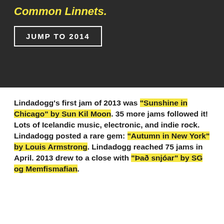Common Linnets.
JUMP TO 2014
Lindadogg’s first jam of 2013 was “Sunshine in Chicago” by Sun Kil Moon. 35 more jams followed it! Lots of Icelandic music, electronic, and indie rock. Lindadogg posted a rare gem: “Autumn in New York” by Louis Armstrong. Lindadogg reached 75 jams in April. 2013 drew to a close with “Þæð snjóar” by SG og Memfismafian.